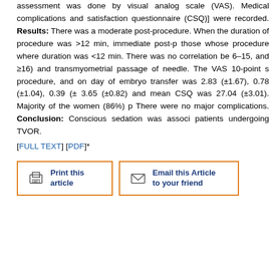assessment was done by visual analog scale (VAS). Medical complications and satisfaction questionnaire (CSQ)] were recorded. Results: There was a moderate post-procedure. When the duration of procedure was >12 min, immediate post-p those whose procedure where duration was <12 min. There was no correlation be 6–15, and ≥16) and transmyometrial passage of needle. The VAS 10-point s procedure, and on day of embryo transfer was 2.83 (±1.67), 0.78 (±1.04), 0.39 (± 3.65 (±0.82) and mean CSQ was 27.04 (±3.01). Majority of the women (86%) p There were no major complications. Conclusion: Conscious sedation was associ patients undergoing TVOR.
[FULL TEXT] [PDF]*
[Figure (other): Print this article button and Email this Article to your friend button]